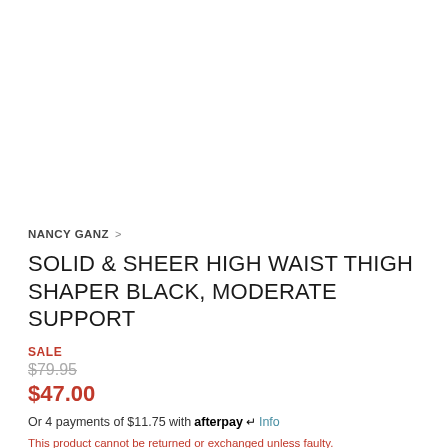NANCY GANZ >
SOLID & SHEER HIGH WAIST THIGH SHAPER BLACK, MODERATE SUPPORT
SALE
$79.95
$47.00
Or 4 payments of $11.75 with afterpay Info
This product cannot be returned or exchanged unless faulty.